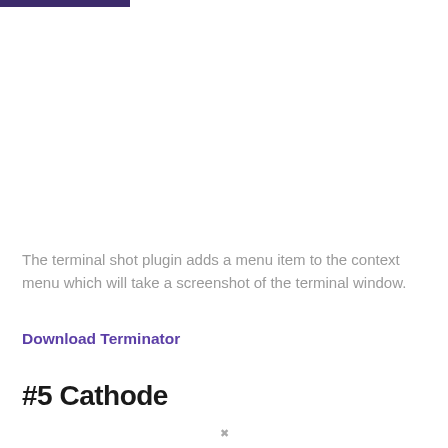The terminal shot plugin adds a menu item to the context menu which will take a screenshot of the terminal window.
Download Terminator
#5 Cathode